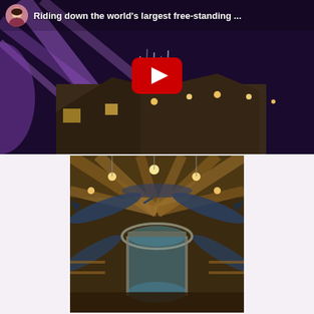[Figure (screenshot): YouTube video thumbnail showing 'Riding down the world's largest free-standing ...' with a purple-lit interior scene and a red YouTube play button. A small circular avatar of a woman is visible in the top left.]
[Figure (photo): Interior photo of a large circular domed wooden building with hanging fish (marlin/swordfish) decorations suspended from the ceiling beams, a cylindrical aquarium tank in the center, and warm lighting.]